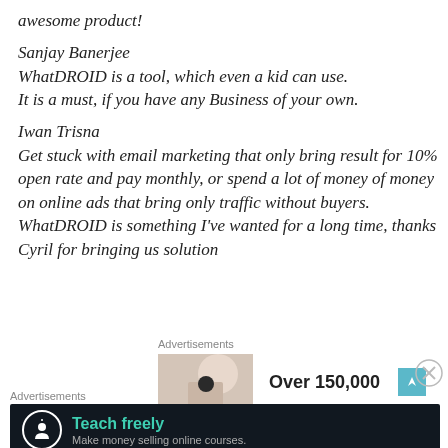awesome product!
Sanjay Banerjee
WhatDROID is a tool, which even a kid can use. It is a must, if you have any Business of your own.
Iwan Trisna
Get stuck with email marketing that only bring result for 10% open rate and pay monthly, or spend a lot of money of money on online ads that bring only traffic without buyers. WhatDROID is something I’ve wanted for a long time, thanks Cyril for bringing us solution
[Figure (infographic): Advertisement banner with photo of person, text 'Over 150,000', bookmark icon, and close button]
[Figure (infographic): Advertisement banner with dark background, Teachable logo, text 'Teach freely', subtext 'Make money selling online courses.']